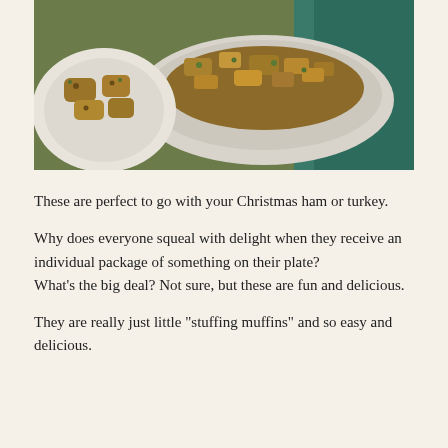[Figure (photo): Food photo showing stuffing muffins in a baking dish and a white plate, with a teal/green cloth visible in the background.]
These are perfect to go with your Christmas ham or turkey.
Why does everyone squeal with delight when they receive an individual package of something on their plate?
What's the big deal? Not sure, but these are fun and delicious.
They are really just little "stuffing muffins" and so easy and delicious.